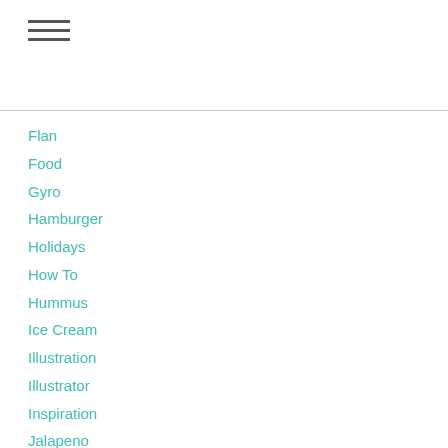[Figure (other): Hamburger menu icon with three horizontal lines]
Flan
Food
Gyro
Hamburger
Holidays
How To
Hummus
Ice Cream
Illustration
Illustrator
Inspiration
Jalapeno
Kitten
Life
Memories
Mural
Reviews